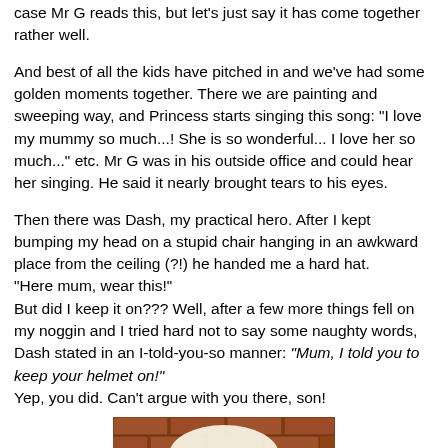case Mr G reads this, but let's just say it has come together rather well.
And best of all the kids have pitched in and we've had some golden moments together. There we are painting and sweeping way, and Princess starts singing this song: "I love my mummy so much...! She is so wonderful... I love her so much..." etc. Mr G was in his outside office and could hear her singing. He said it nearly brought tears to his eyes.
Then there was Dash, my practical hero. After I kept bumping my head on a stupid chair hanging in an awkward place from the ceiling (?!) he handed me a hard hat. "Here mum, wear this!" But did I keep it on??? Well, after a few more things fell on my noggin and I tried hard not to say some naughty words, Dash stated in an I-told-you-so manner: "Mum, I told you to keep your helmet on!" Yep, you did. Can't argue with you there, son!
[Figure (photo): A photo showing what appears to be a hard hat or helmet against a brick wall background]